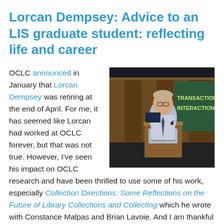Lorcan Dempsey: Advice to an LIS graduate student: reflecting life and career
[Figure (photo): A man speaking at a podium during the JISC Conference 2009, with a presentation screen visible in the background showing text 'TRANSACTION/ INTERACTION COS']
OCLC announced in January that Lorcan Dempsey was retiring at the end of April. For me, it has seemed like Lorcan had worked at OCLC forever, but that was not true. However, I've seen his impact on OCLC research and have been thrilled to use some of his work, especially Collection Directions: Some Reflections on the Future of Library Collections and Collecting which he wrote with Constance Malpas and Brian Lavoie. And I am thankful for Lorcan's willingness to share his work.
Last year, Lorcan was asked if he "could talk about what